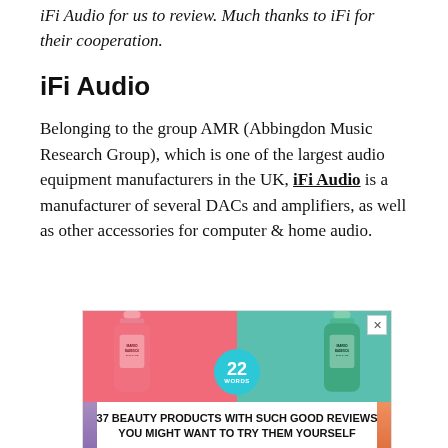iFi Audio for us to review. Much thanks to iFi for their cooperation.
iFi Audio
Belonging to the group AMR (Abbingdon Music Research Group), which is one of the largest audio equipment manufacturers in the UK, iFi Audio is a manufacturer of several DACs and amplifiers, as well as other accessories for computer & home audio.
[Figure (photo): Advertisement showing two Mario Badescu spray bottles on pink and teal backgrounds with text '37 BEAUTY PRODUCTS WITH SUCH GOOD REVIEWS YOU MIGHT WANT TO TRY THEM YOURSELF' and a '22 WORDS' badge]